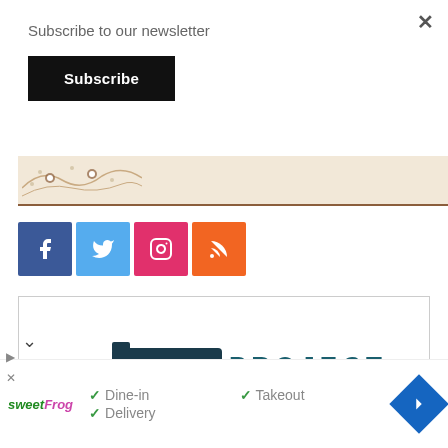Subscribe to our newsletter
Subscribe
[Figure (map): Partial map strip with illustrated terrain and location markers]
[Figure (infographic): Social media icon buttons: Facebook (blue), Twitter (light blue), Instagram (pink/red), RSS (orange)]
[Figure (logo): Project Childcafe logo with handgun illustration and stylized text CHILDCAFE in teal and orange, registered trademark]
[Figure (infographic): Bottom bar with sweetFrog logo, checkmarks for Dine-in, Takeout, Delivery, and blue navigation diamond icon]